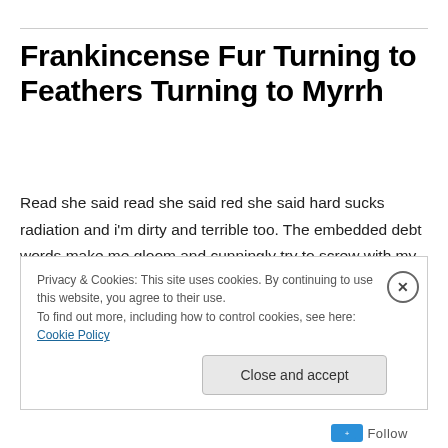Frankincense Fur Turning to Feathers Turning to Myrrh
Read she said read she said red she said hard sucks radiation and i'm dirty and terrible too. The embedded debt words make me gloom and cunningly try to screw with my space powers, my intoxicated re-flower. Hard she said hard she said herd she said bread sucks radiation and scared all the deer in the garden of good…
Privacy & Cookies: This site uses cookies. By continuing to use this website, you agree to their use.
To find out more, including how to control cookies, see here: Cookie Policy